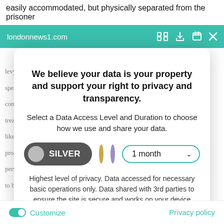easily accommodated, but physically separated from the prisoner
londonnews1.com
We believe your data is your property and support your right to privacy and transparency.
Select a Data Access Level and Duration to choose how we use and share your data.
SILVER  1 month
Highest level of privacy. Data accessed for necessary basic operations only. Data shared with 3rd parties to ensure the site is secure and works on your device
Save my preferences
Customize
Privacy policy